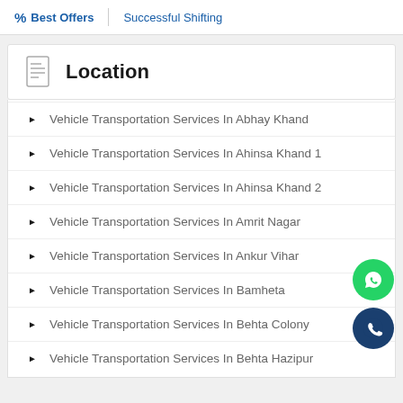% Best Offers | Successful Shifting
Location
Vehicle Transportation Services In Abhay Khand
Vehicle Transportation Services In Ahinsa Khand 1
Vehicle Transportation Services In Ahinsa Khand 2
Vehicle Transportation Services In Amrit Nagar
Vehicle Transportation Services In Ankur Vihar
Vehicle Transportation Services In Bamheta
Vehicle Transportation Services In Behta Colony
Vehicle Transportation Services In Behta Hazipur